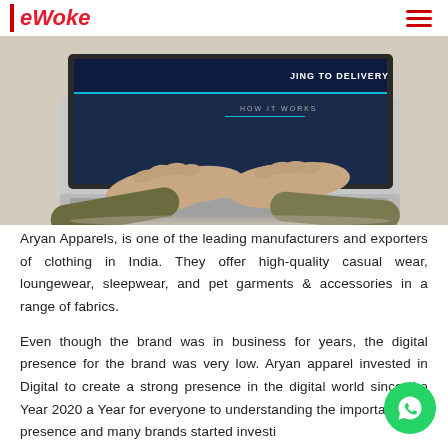eWoke
[Figure (photo): Person's hands typing on a laptop keyboard. The laptop screen shows a website with dark blue/navy background with text 'JING TO DELIVERY' and 'HOW IT WORKS' visible.]
Aryan Apparels, is one of the leading manufacturers and exporters of clothing in India. They offer high-quality casual wear, loungewear, sleepwear, and pet garments & accessories in a range of fabrics.
Even though the brand was in business for years, the digital presence for the brand was very low. Aryan apparel invested in Digital to create a strong presence in the digital world since the Year 2020 a Year for everyone to understanding the importa Digital presence and many brands started investi